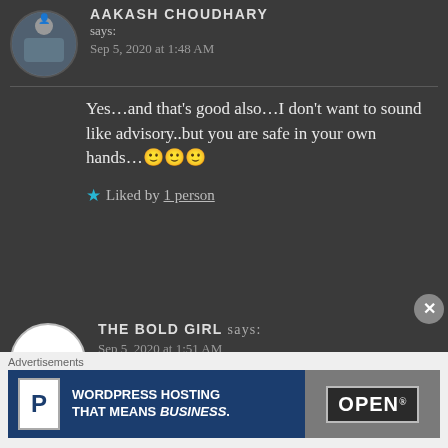[Figure (photo): Avatar photo of Aakash Choudhary showing a circular profile picture with a dark military/NATO-style image]
AAKASH CHOUDHARY says:
Sep 5, 2020 at 1:48 AM
Yes...and that’s good also...I don’t want to sound like advisory..but you are safe in your own hands...🙂🙂🙂
★ Liked by 1 person
[Figure (logo): The Bold Girl circular logo on white background with small illustration and text 'The Bold Ville']
THE BOLD GIRL says:
Sep 5, 2020 at 1:51 AM
Advertisements
[Figure (screenshot): Advertisement banner for WordPress Hosting - blue background with P logo and text 'WORDPRESS HOSTING THAT MEANS BUSINESS.' with an OPEN sign image on the right]